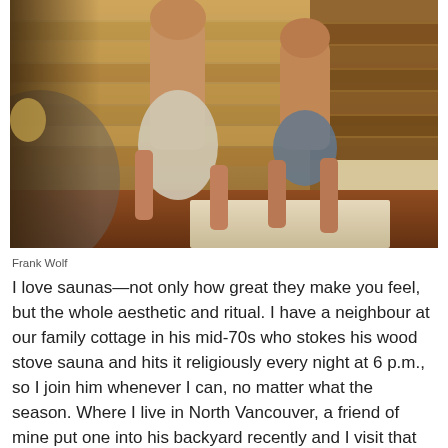[Figure (photo): Two men standing in a wood-paneled sauna interior, both shirtless and wearing towels. Wooden benches and warm lighting visible in the background.]
Frank Wolf
I love saunas—not only how great they make you feel, but the whole aesthetic and ritual. I have a neighbour at our family cottage in his mid-70s who stokes his wood stove sauna and hits it religiously every night at 6 p.m., so I join him whenever I can, no matter what the season. Where I live in North Vancouver, a friend of mine put one into his backyard recently and I visit that as often